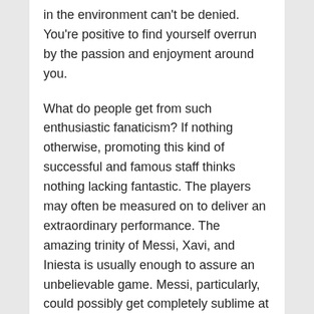in the environment can't be denied. You're positive to find yourself overrun by the passion and enjoyment around you.
What do people get from such enthusiastic fanaticism? If nothing otherwise, promoting this kind of successful and famous staff thinks nothing lacking fantastic. The players may often be measured on to deliver an extraordinary performance. The amazing trinity of Messi, Xavi, and Iniesta is usually enough to assure an unbelievable game. Messi, particularly, could possibly get completely sublime at times.
If you are not a fan and are simply seeking to experience participating a casino game, get ready to become a convert. The activities can be a